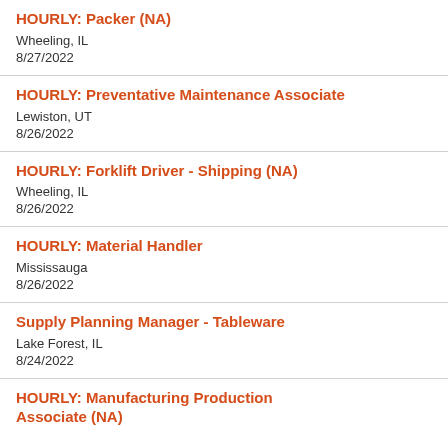HOURLY: Packer (NA)
Wheeling, IL
8/27/2022
HOURLY: Preventative Maintenance Associate
Lewiston, UT
8/26/2022
HOURLY: Forklift Driver - Shipping (NA)
Wheeling, IL
8/26/2022
HOURLY: Material Handler
Mississauga
8/26/2022
Supply Planning Manager - Tableware
Lake Forest, IL
8/24/2022
HOURLY: Manufacturing Production Associate (NA)